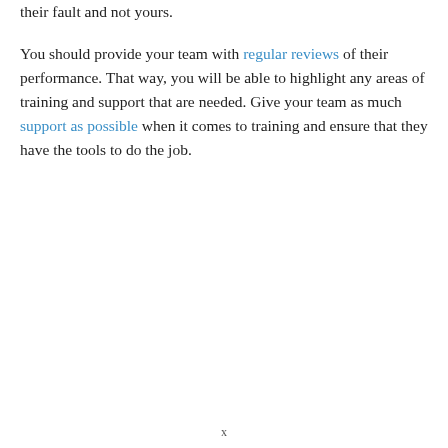their fault and not yours.
You should provide your team with regular reviews of their performance. That way, you will be able to highlight any areas of training and support that are needed. Give your team as much support as possible when it comes to training and ensure that they have the tools to do the job.
x